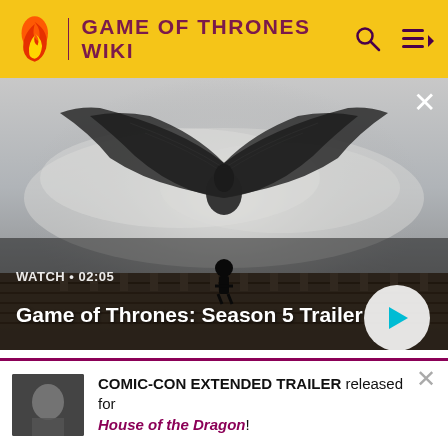GAME OF THRONES WIKI
[Figure (screenshot): Game of Thrones Season 5 Trailer video thumbnail: a silhouetted figure stands on a bridge with a large dragon spreading its wings in misty background. Shows WATCH • 02:05 label and play button.]
Game of Thrones: Season 5 Trailer
[Figure (screenshot): Two smaller video thumbnails side by side: left shows a blond character (Tyrion), right shows a dark-haired man. Both have play buttons.]
COMIC-CON EXTENDED TRAILER released for House of the Dragon!